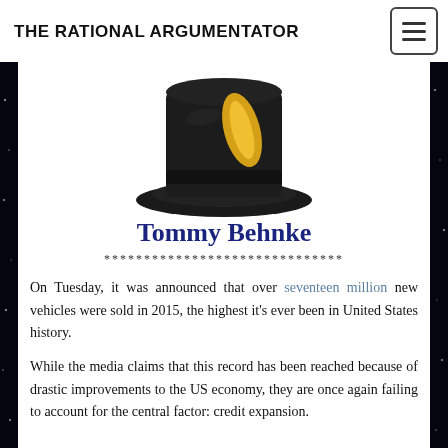THE RATIONAL ARGUMENTATOR
[Figure (illustration): A black top hat with a yellow feather or decoration, illustrated style, cropped at top]
Tommy Behnke
******************************
On Tuesday, it was announced that over seventeen million new vehicles were sold in 2015, the highest it's ever been in United States history.
While the media claims that this record has been reached because of drastic improvements to the US economy, they are once again failing to account for the central factor: credit expansion.